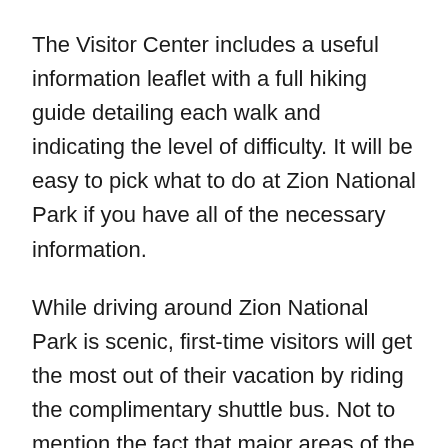The Visitor Center includes a useful information leaflet with a full hiking guide detailing each walk and indicating the level of difficulty. It will be easy to pick what to do at Zion National Park if you have all of the necessary information.
While driving around Zion National Park is scenic, first-time visitors will get the most out of their vacation by riding the complimentary shuttle bus. Not to mention the fact that major areas of the park are closed to private vehicles during the tourist season.
The shuttle will take you on a magnificent trip through Zion National Park up the main canyon, with an audio guide pointing out the sights to see. The